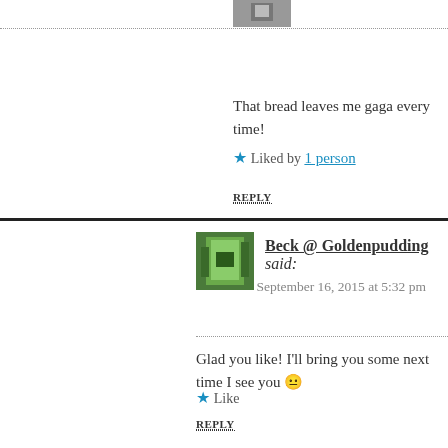[Figure (photo): Small avatar image, grayscale photo, top of page]
That bread leaves me gaga every time!
★ Liked by 1 person
REPLY
[Figure (photo): Avatar image of Beck @ Goldenpudding, colorful photo]
Beck @ Goldenpudding said:
September 16, 2015 at 5:32 pm
Glad you like! I'll bring you some next time I see you 😐
★ Like
REPLY
[Figure (photo): Avatar image of fergie51]
fergie51 said:
September 16, 2015 at 8:35 pm
Bread is gorgeous! That jam has me drooling, doesn't pepper work well with strawbs? Been meaning to check out Farmhouse Direct for a while. Think now is the time